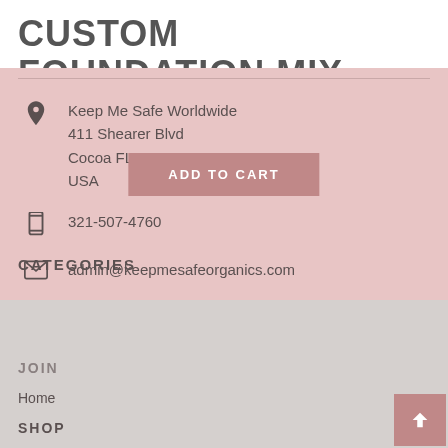CUSTOM FOUNDATION MIX
Keep Me Safe Worldwide
411 Shearer Blvd
Cocoa FL 32922
USA
321-507-4760
admin@keepmesafeorganics.com
CATEGORIES
ADD TO CART
JOIN
Home
SHOP